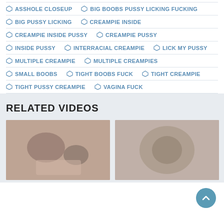ASSHOLE CLOSEUP
BIG BOOBS PUSSY LICKING FUCKING
BIG PUSSY LICKING
CREAMPIE INSIDE
CREAMPIE INSIDE PUSSY
CREAMPIE PUSSY
INSIDE PUSSY
INTERRACIAL CREAMPIE
LICK MY PUSSY
MULTIPLE CREAMPIE
MULTIPLE CREAMPIES
SMALL BOOBS
TIGHT BOOBS FUCK
TIGHT CREAMPIE
TIGHT PUSSY CREAMPIE
VAGINA FUCK
RELATED VIDEOS
[Figure (photo): Two thumbnail images of related videos]